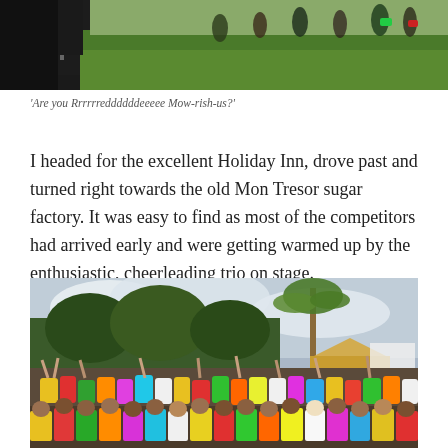[Figure (photo): Top portion of an outdoor event photo showing green grass, a dark stage/banner on the left, and people in colorful athletic wear in the background]
'Are you Rrrrrreddddddeeeee Mow-rish-us?'
I headed for the excellent Holiday Inn, drove past and turned right towards the old Mon Tresor sugar factory. It was easy to find as most of the competitors had arrived early and were getting warmed up by the enthusiastic, cheerleading trio on stage.
[Figure (photo): A large crowd of participants in colorful athletic clothing at an outdoor fitness event, with arms raised, palm trees and cloudy sky in background, tents visible in background]